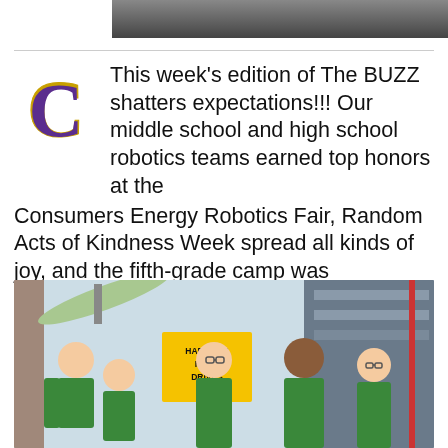[Figure (photo): Partial top photo, cropped, dark tones]
This week's edition of The BUZZ shatters expectations!!! Our middle school and high school robotics teams earned top honors at the Consumers Energy Robotics Fair, Random Acts of Kindness Week spread all kinds of joy, and the fifth-grade camp was incredible!!!! #ONEHIVE
6 MONTHS AGO, REBECCA HUTCHINSON
[Figure (photo): Students in green shirts standing in front of a yellow 'Hardcore Hard Drives' sign at a robotics fair]